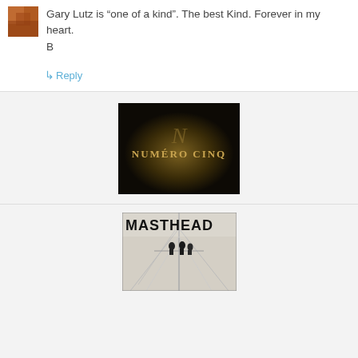[Figure (photo): Small avatar thumbnail showing a warm-toned photo]
Gary Lutz is “one of a kind”. The best Kind. Forever in my heart.
B
↳ Reply
[Figure (photo): Dark background image with golden text reading NUMÉRO CINQ]
[Figure (photo): Black and white photo of people on a boat mast with MASTHEAD text overlay]